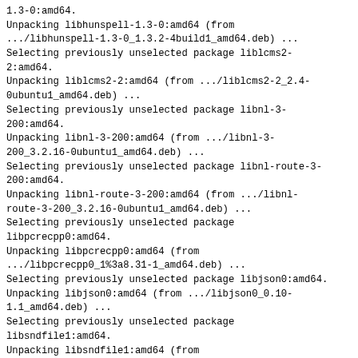1.3-0:amd64.
Unpacking libhunspell-1.3-0:amd64 (from .../libhunspell-1.3-0_1.3.2-4build1_amd64.deb) ...
Selecting previously unselected package liblcms2-2:amd64.
Unpacking liblcms2-2:amd64 (from .../liblcms2-2_2.4-0ubuntu1_amd64.deb) ...
Selecting previously unselected package libnl-3-200:amd64.
Unpacking libnl-3-200:amd64 (from .../libnl-3-200_3.2.16-0ubuntu1_amd64.deb) ...
Selecting previously unselected package libnl-route-3-200:amd64.
Unpacking libnl-route-3-200:amd64 (from .../libnl-route-3-200_3.2.16-0ubuntu1_amd64.deb) ...
Selecting previously unselected package libpcrecpp0:amd64.
Unpacking libpcrecpp0:amd64 (from .../libpcrecpp0_1%3a8.31-1_amd64.deb) ...
Selecting previously unselected package libjson0:amd64.
Unpacking libjson0:amd64 (from .../libjson0_0.10-1.1_amd64.deb) ...
Selecting previously unselected package libsndfile1:amd64.
Unpacking libsndfile1:amd64 (from .../libsndfile1_1.0.25-5_amd64.deb) ...
Selecting previously unselected package libwrap0:amd64.
Unpacking libwrap0:amd64 (from .../libwrap0_7.6.q-24_amd64.deb) ...
Selecting previously unselected package